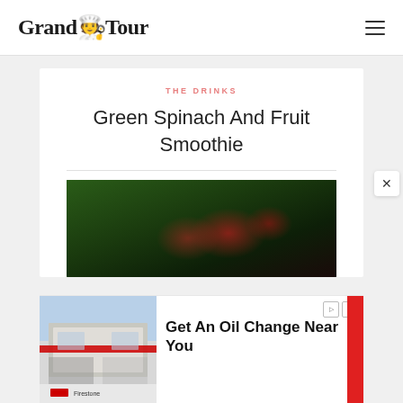Grand Tour
THE DRINKS
Green Spinach And Fruit Smoothie
[Figure (photo): Close-up photo of green spinach leaves with red berries/fruits on a dark background]
[Figure (infographic): Advertisement: Get An Oil Change Near You - Firestone]